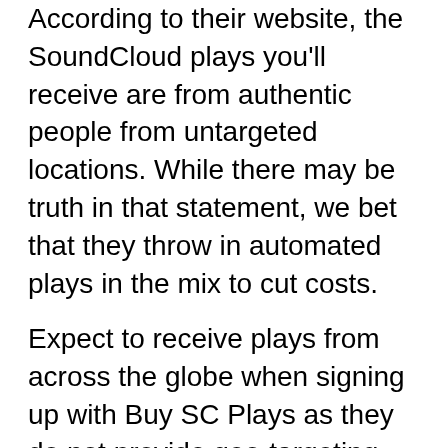According to their website, the SoundCloud plays you'll receive are from authentic people from untargeted locations. While there may be truth in that statement, we bet that they throw in automated plays in the mix to cut costs.
Expect to receive plays from across the globe when signing up with Buy SC Plays as they do not provide geo-targeting services along with their current packages. If you're looking to gain attention from a specific group of people or a particular location, you are best off choosing a different provider.
Customer Support Availability
On their website, Buy SC Plays says that their